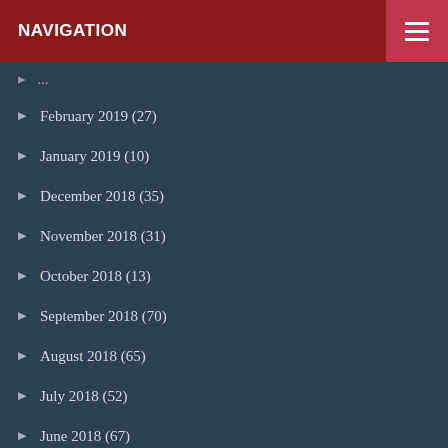NAVIGATION
February 2019 (27)
January 2019 (10)
December 2018 (35)
November 2018 (31)
October 2018 (13)
September 2018 (70)
August 2018 (65)
July 2018 (52)
June 2018 (67)
May 2018 (85)
April 2018 (59)
March 2018 (79)
February 2018 (67)